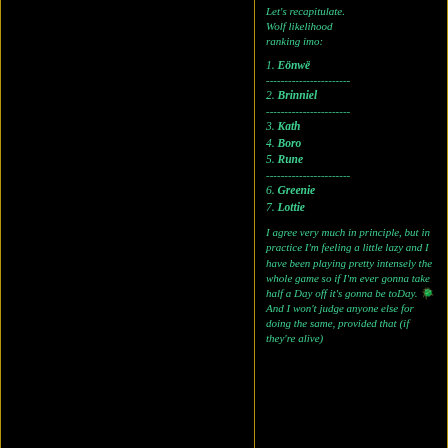Let's recapitulate. Wolf likelihood ranking imo:
1. Eönwë
2. Brinniel
3. Kath
4. Boro
5. Rune
6. Greenie
7. Lottie
I agree very much in principle, but in practice I'm feeling a little lazy and I have been playing pretty intensely the whole game so if I'm ever gonna take half a Day off it's gonna be toDay. 🪲 And I won't judge anyone else for doing the same, provided that (if they're alive)